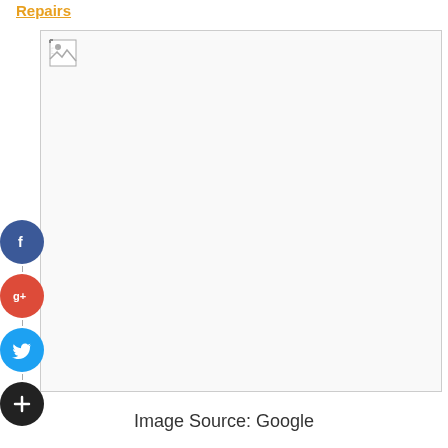Repairs
[Figure (photo): A broken or damaged image placeholder representing a photo that failed to load, with a small broken image icon in the top-left corner]
[Figure (infographic): Social media sharing buttons: Facebook (blue circle with f), Google+ (red circle with g+), Twitter (light blue circle with bird), and a plus/add button (dark circle with +)]
Image Source: Google